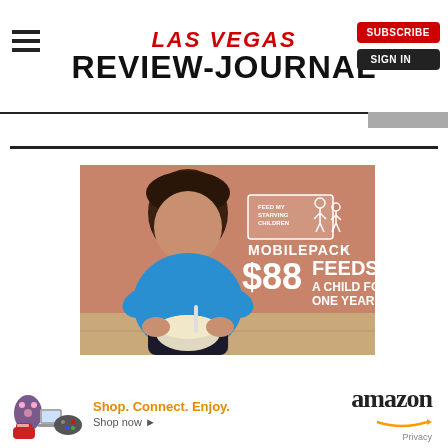[Figure (screenshot): Las Vegas Review-Journal website header with hamburger menu, red and black logo, Subscribe button and Sign In button]
[Figure (photo): Feed My Starving Children MobilePack advertisement showing a young child holding a bowl of food. Text reads: Feed My Starving Children MOBILEPACK, $88 FEEDS A CHILD FOR ONE YEAR.]
[Figure (infographic): Amazon advertisement showing product images (cat toy, shoes, laptop, game controller). Text: Shop. Connect. Enjoy. Shop now. Amazon logo with smile.]